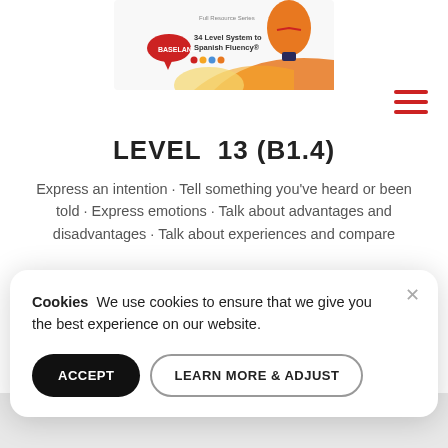[Figure (illustration): Partial view of a Spanish language learning course book cover showing a hot air balloon illustration and text '34 Level System to Spanish Fluency']
LEVEL 13 (B1.4)
Express an intention · Tell something you've heard or been told · Express emotions · Talk about advantages and disadvantages · Talk about experiences and compare
Cookies  We use cookies to ensure that we give you the best experience on our website.
ACCEPT
LEARN MORE & ADJUST